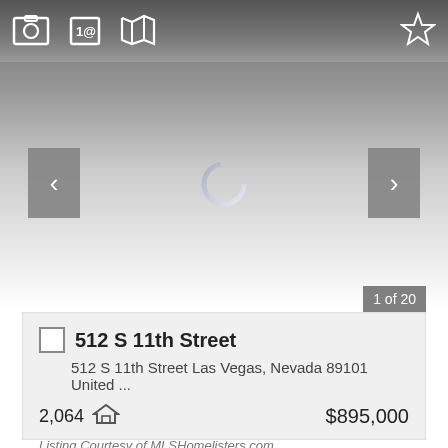[Figure (screenshot): Real estate listing screenshot showing an image viewer with navigation arrows, a loading spinner, toolbar icons (photo, contact, map, star/favorites), and a property listing card below.]
1 of 20
512 S 11th Street
512 S 11th Street Las Vegas, Nevada 89101 United ...
2,064  $895,000
Listing Courtesy of MLSHomelisters.com